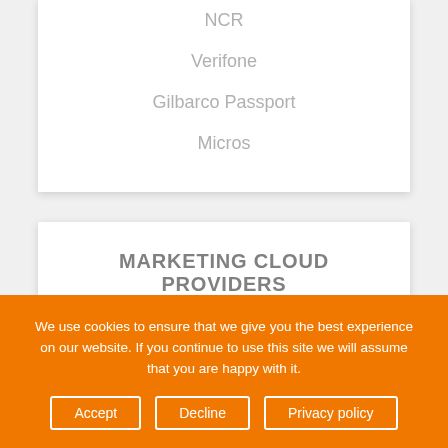NCR
Verifone
Gilbarco Passport
Micros
MARKETING CLOUD PROVIDERS
Salesforce
Adobe Marketing Cloud
We use cookies to ensure that we give you the best experience on our website. If you continue to use this site we will assume that you are happy with it.